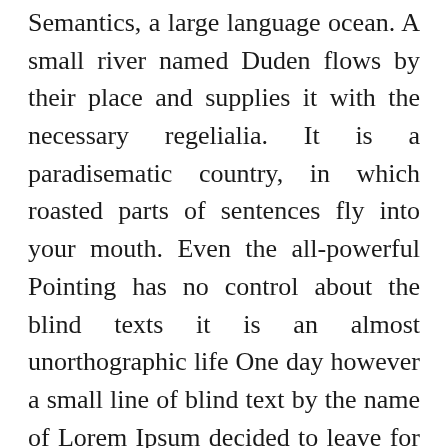Semantics, a large language ocean. A small river named Duden flows by their place and supplies it with the necessary regelialia. It is a paradisematic country, in which roasted parts of sentences fly into your mouth. Even the all-powerful Pointing has no control about the blind texts it is an almost unorthographic life One day however a small line of blind text by the name of Lorem Ipsum decided to leave for the far World of Grammar. The Big Oxmox advised her not to do so, because there were thousands of bad Commas, wild Question Marks and devious Semikoli, but the Little Blind Text didn't listen.[/vc_column_text][/vc_column]
[/vc_row]